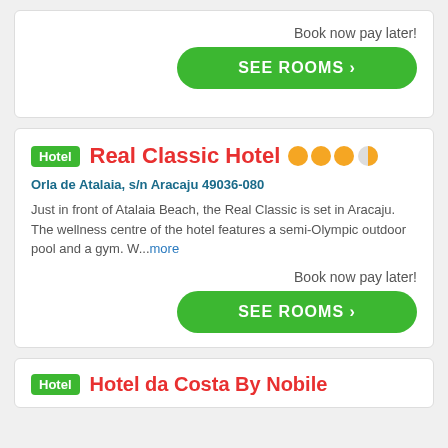Book now pay later!
SEE ROOMS ›
Hotel Real Classic Hotel ●●●◐
Orla de Atalaia, s/n Aracaju 49036-080
Just in front of Atalaia Beach, the Real Classic is set in Aracaju. The wellness centre of the hotel features a semi-Olympic outdoor pool and a gym. W...more
Book now pay later!
SEE ROOMS ›
Hotel Hotel da Costa By Nobile